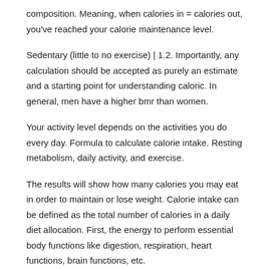composition. Meaning, when calories in = calories out, you've reached your calorie maintenance level.
Sedentary (little to no exercise) | 1.2. Importantly, any calculation should be accepted as purely an estimate and a starting point for understanding caloric. In general, men have a higher bmr than women.
Your activity level depends on the activities you do every day. Formula to calculate calorie intake. Resting metabolism, daily activity, and exercise.
The results will show how many calories you may eat in order to maintain or lose weight. Calorie intake can be defined as the total number of calories in a daily diet allocation. First, the energy to perform essential body functions like digestion, respiration, heart functions, brain functions, etc.
[Figure (other): A circular close/cancel icon (black circle with white X)]